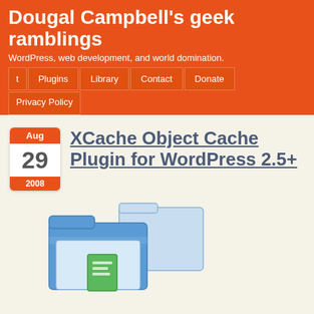Dougal Campbell's geek ramblings
WordPress, web development, and world domination.
t
Plugins
Library
Contact
Donate
Privacy Policy
XCache Object Cache Plugin for WordPress 2.5+
[Figure (illustration): Windows-style folder icons showing two blue folders with a green document icon, representing file/plugin archiving]